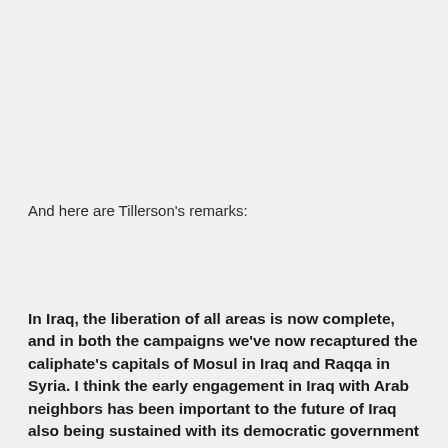And here are Tillerson's remarks:
In Iraq, the liberation of all areas is now complete, and in both the campaigns we've now recaptured the caliphate's capitals of Mosul in Iraq and Raqqa in Syria. I think the early engagement in Iraq with Arab neighbors has been important to the future of Iraq also being sustained with its democratic government and sustaining Iraq as a unified country. Having Arab neighbors engage early as the war to defeat ISIS progressed, importantly with the historic visit because